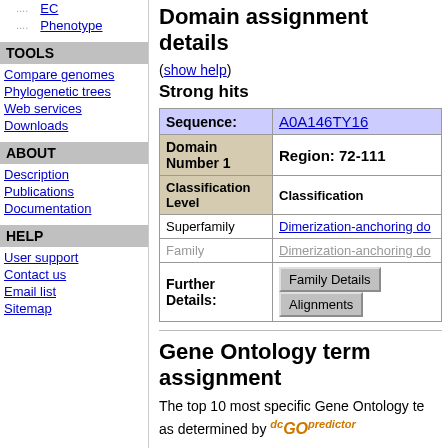EC
Phenotype
TOOLS
Compare genomes
Phylogenetic trees
Web services
Downloads
ABOUT
Description
Publications
Documentation
HELP
User support
Contact us
Email list
Sitemap
Domain assignment details
(show help)
Strong hits
| Sequence: | A0A146TY16 |
| --- | --- |
| Domain Number 1 | Region: 72-111 |
| Classification Level | Classification |
| Superfamily | Dimerization-anchoring do... |
| Family | Dimerization-anchoring do... |
| Further Details: | Family Details | Alignments |
Gene Ontology term assignment
The top 10 most specific Gene Ontology terms as determined by dcGO predictor